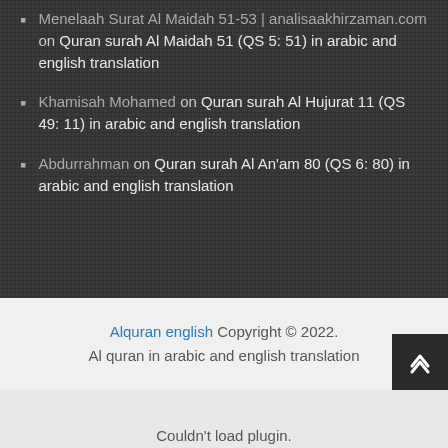Menelaah Surat Al Maidah 51-53 | analisaakhirzaman.com on Quran surah Al Maidah 51 (QS 5: 51) in arabic and english translation
Khamisah Mohamed on Quran surah Al Hujurat 11 (QS 49: 11) in arabic and english translation
Abdurrahman on Quran surah Al An'am 80 (QS 6: 80) in arabic and english translation
Alquran english Copyright © 2022. Al quran in arabic and english translation
[Figure (screenshot): Histats.com button/badge widget]
Couldn't load plugin.